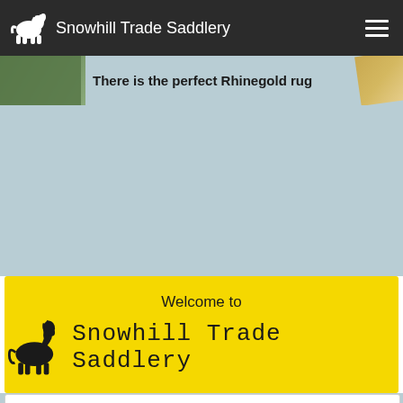Snowhill Trade Saddlery
[Figure (screenshot): Partial banner image showing text 'There is the perfect Rhinegold rug']
[Figure (logo): Snowhill Trade Saddlery logo with horse silhouette and brand name on yellow background with 'Welcome to' text above]
Log In or Create an Account
View our latest Monthly Offers